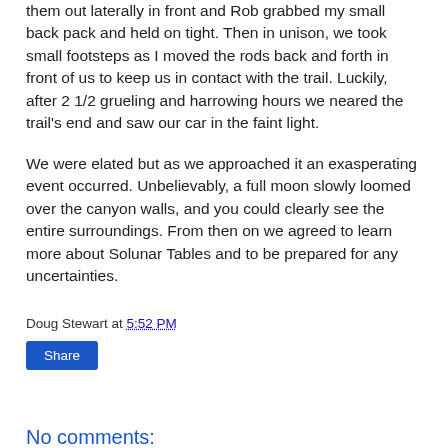them out laterally in front and Rob grabbed my small back pack and held on tight. Then in unison, we took small footsteps as I moved the rods back and forth in front of us to keep us in contact with the trail. Luckily, after 2 1/2 grueling and harrowing hours we neared the trail's end and saw our car in the faint light.
We were elated but as we approached it an exasperating event occurred. Unbelievably, a full moon slowly loomed over the canyon walls, and you could clearly see the entire surroundings. From then on we agreed to learn more about Solunar Tables and to be prepared for any uncertainties.
Doug Stewart at 5:52 PM
Share
No comments:
Post a Comment